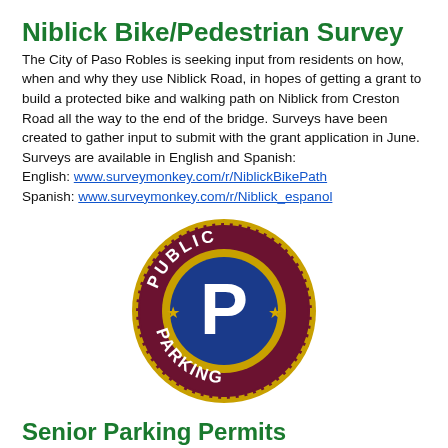Niblick Bike/Pedestrian Survey
The City of Paso Robles is seeking input from residents on how, when and why they use Niblick Road, in hopes of getting a grant to build a protected bike and walking path on Niblick from Creston Road all the way to the end of the bridge. Surveys have been created to gather input to submit with the grant application in June. Surveys are available in English and Spanish:
English: www.surveymonkey.com/r/NiblickBikePath
Spanish: www.surveymonkey.com/r/Niblick_espanol
[Figure (logo): Public Parking circular logo: dark maroon outer ring with gold gear-tooth border and text 'PUBLIC' on top and 'PARKING' on bottom in white, a gold inner ring, and a dark blue circle center with a large white letter P and two gold stars on the sides.]
Senior Parking Permits
The City of Paso Robles will be offering 500 annual Senior Downtown Parking Permits starting March 28, 2022, to